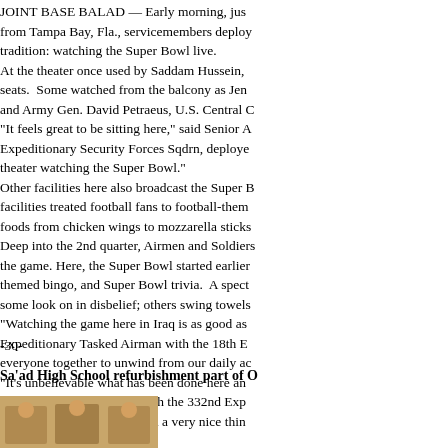JOINT BASE BALAD — Early morning, just from Tampa Bay, Fla., servicemembers deployed tradition: watching the Super Bowl live. At the theater once used by Saddam Hussein, seats. Some watched from the balcony as Jen and Army Gen. David Petraeus, U.S. Central "It feels great to be sitting here," said Senior A Expeditionary Security Forces Sqdrn, deployed theater watching the Super Bowl." Other facilities here also broadcast the Super facilities treated football fans to football-themed foods from chicken wings to mozzarella sticks Deep into the 2nd quarter, Airmen and Soldiers the game. Here, the Super Bowl started earlier themed bingo, and Super Bowl trivia. A spect some look on in disbelief; others swing towels "Watching the game here in Iraq is as good as Expeditionary Tasked Airman with the 18th E everyone together to unwind from our daily activities "It's unbelievable what has been done here an Jerry Lee, an intel officer with the 332nd Exp AFB, Fla. "It's incredible and a very nice thing
-30-
Sa'ad High School refurbishment part of O
[Figure (photo): Photo of three men in suits standing together, partial view cut off at right edge]